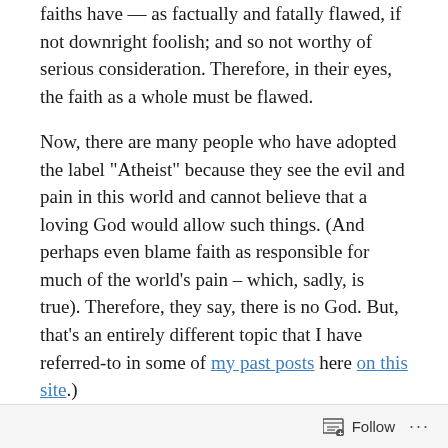faiths have — as factually and fatally flawed, if not downright foolish; and so not worthy of serious consideration.  Therefore, in their eyes, the faith as a whole must be flawed.

Now, there are many people who have adopted the label “Atheist” because they see the evil and pain in this world and cannot believe that a loving God would allow such things. (And perhaps even blame faith as responsible for much of the world’s pain – which, sadly, is true).  Therefore, they say, there is no God.  But, that’s an entirely different topic that I have referred-to in some of my past posts here on this site.)
Follow ···